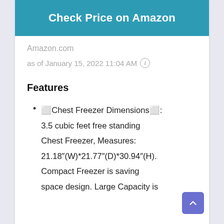Check Price on Amazon
Amazon.com
as of January 15, 2022 11:04 AM ℹ
Features
🔷Chest Freezer Dimensions🔷: 3.5 cubic feet free standing Chest Freezer, Measures: 21.18″(W)*21.77″(D)*30.94″(H). Compact Freezer is saving space design. Large Capacity is